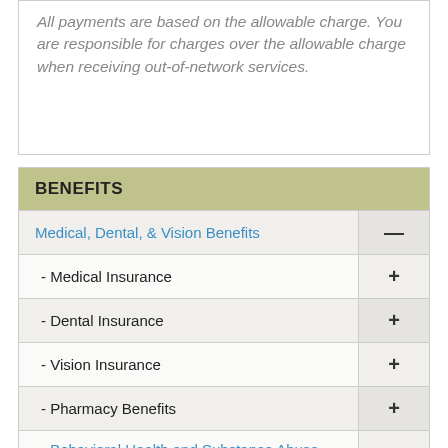All payments are based on the allowable charge. You are responsible for charges over the allowable charge when receiving out-of-network services.
BENEFITS
| Benefit | Toggle |
| --- | --- |
| Medical, Dental, & Vision Benefits | — |
| - Medical Insurance | + |
| - Dental Insurance | + |
| - Vision Insurance | + |
| - Pharmacy Benefits | + |
| - Behavioral Health and Substance Abuse Benefits | — |
| - Providers |  |
| - Treatment of Autism Spectrum Disorder |  |